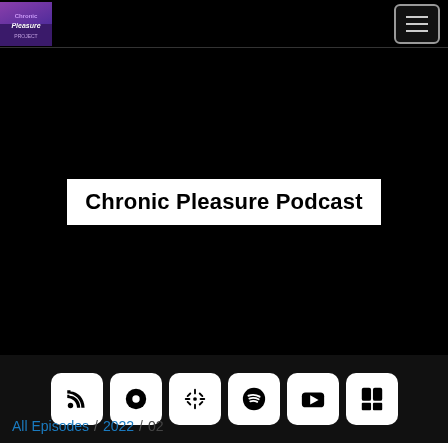Chronic Pleasure Podcast — navigation bar with logo and hamburger menu
[Figure (screenshot): Black hero banner area with white box containing the podcast title]
Chronic Pleasure Podcast
[Figure (infographic): Black bar with six podcast platform icon buttons: RSS, Buzzsprout, Google Podcasts, Spotify, YouTube, RadioPublic]
All Episodes / 2022 / 02